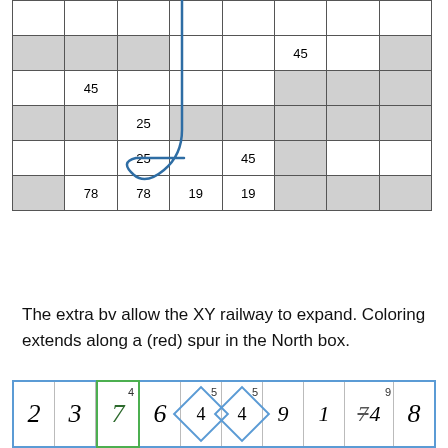[Figure (other): A grid table with shaded (gray) and white cells. Some cells contain numbers (45, 25, 78, 19). A blue hand-drawn path traces a route through columns 2-3 of the grid.]
The extra bv allow the XY railway to expand. Coloring extends along a (red) spur in the North box.
[Figure (other): A horizontal strip with a blue border containing cells with numbers: 2, 3, 7 (green border, superscript 4), 6, diamond-4 (superscript 5), diamond-4 (superscript 5), 9, 1, strikethrough-7, 4 (superscript 9), 8. Various formatting including green borders, diamond shapes, and superscripts.]